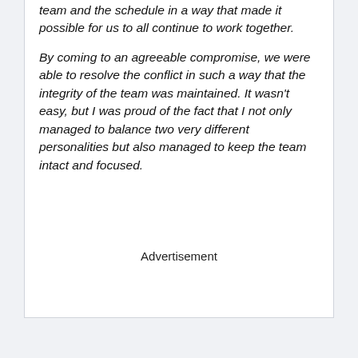team and the schedule in a way that made it possible for us to all continue to work together.
By coming to an agreeable compromise, we were able to resolve the conflict in such a way that the integrity of the team was maintained. It wasn't easy, but I was proud of the fact that I not only managed to balance two very different personalities but also managed to keep the team intact and focused.
Advertisement